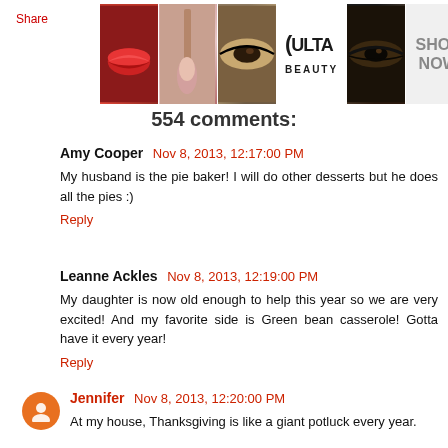Share
[Figure (photo): Ulta Beauty advertisement banner with makeup images (lips, brush, eye makeup) and SHOP NOW text]
554 comments:
Amy Cooper  Nov 8, 2013, 12:17:00 PM
My husband is the pie baker! I will do other desserts but he does all the pies :)
Reply
Leanne Ackles  Nov 8, 2013, 12:19:00 PM
My daughter is now old enough to help this year so we are very excited! And my favorite side is Green bean casserole! Gotta have it every year!
Reply
Jennifer  Nov 8, 2013, 12:20:00 PM
At my house, Thanksgiving is like a giant potluck every year.